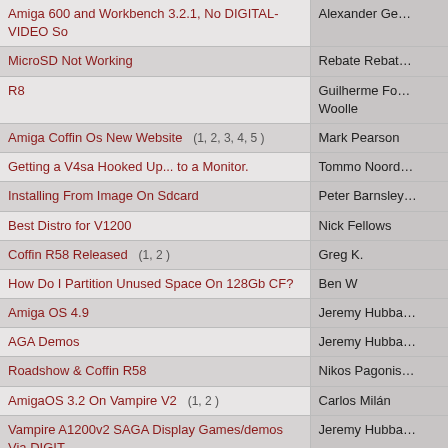| Topic | Author |
| --- | --- |
| Amiga 600 and Workbench 3.2.1, No DIGITAL-VIDEO So | Alexander Ge… |
| MicroSD Not Working | Rebate Rebat… |
| R8 | Guilherme Fo…
Woolle |
| Amiga Coffin Os New Website   (1, 2, 3, 4, 5 ) | Mark Pearson |
| Getting a V4sa Hooked Up... to a Monitor. | Tommo Noord… |
| Installing From Image On Sdcard | Peter Barnsley… |
| Best Distro for V1200 | Nick Fellows |
| Coffin R58 Released   (1, 2 ) | Greg K. |
| How Do I Partition Unused Space On 128Gb CF? | Ben W |
| Amiga OS 4.9 | Jeremy Hubba… |
| AGA Demos | Jeremy Hubba… |
| Roadshow & Coffin R58 | Nikos Pagonis… |
| AmigaOS 3.2 On Vampire V2   (1, 2 ) | Carlos Milán |
| Vampire A1200v2 SAGA Display Games/demos Via DIGIT | Jeremy Hubba… |
| How to Edit Coffin Start Bar/menu? | Björn 1200 |
| PCMCIA to CF Adapter and A600 V2 Issues | Tim Kovack |
| 196 Topics  / 1982 Messages   page |  |